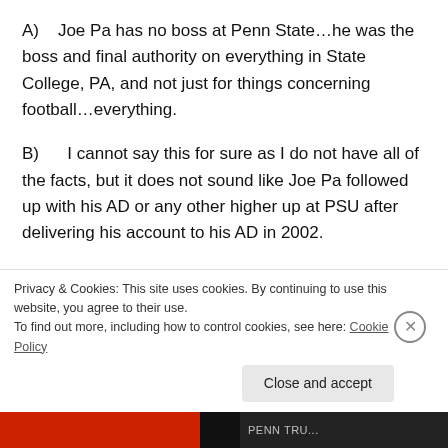A)    Joe Pa has no boss at Penn State…he was the boss and final authority on everything in State College, PA, and not just for things concerning football…everything.
B)    I cannot say this for sure as I do not have all of the facts, but it does not sound like Joe Pa followed up with his AD or any other higher up at PSU after delivering his account to his AD in 2002.
C)    Based on his ridiculous message to those camped out on his lawn last night, where he referred to the victims
Privacy & Cookies: This site uses cookies. By continuing to use this website, you agree to their use. To find out more, including how to control cookies, see here: Cookie Policy
Close and accept